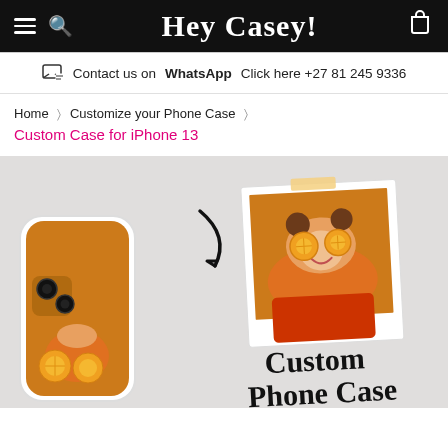Hey Casey! — navigation header with hamburger menu, search icon, brand logo, and cart icon
Contact us on WhatsAppClick here +27 81 245 9336
Home > Customize your Phone Case > Custom Case for iPhone 13
[Figure (photo): Product photo showing a custom phone case for iPhone 13 with a woman holding oranges over her eyes on an orange background, alongside a polaroid-style photo of the same image. Text overlay reads 'Custom Phone Case'.]